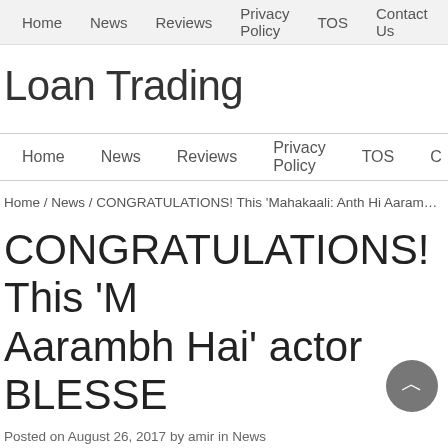Home   News   Reviews   Privacy Policy   TOS   Contact Us
Loan Trading
Home   News   Reviews   Privacy Policy   TOS   C
Home / News / CONGRATULATIONS! This 'Mahakaali: Anth Hi Aarambh Ha
CONGRATULATIONS! This 'M Aarambh Hai' actor BLESSE
Posted on August 26, 2017 by amir in News